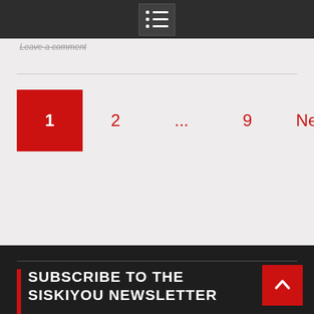Navigation bar with hamburger menu icon
Leave a comment
Pagination: 1 (active), 2, ..., 9, Next
SUBSCRIBE TO THE SISKIYOU NEWSLETTER
Name  [Johnny Appleseed]
Email Address [your email address]